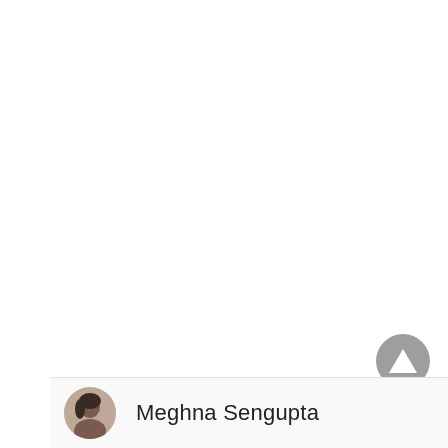[Figure (other): Navigation up/back button — circular dark grey button with a white upward-pointing triangle arrow, positioned bottom-right of the page]
[Figure (photo): Circular avatar photo of Meghna Sengupta — partial view of a woman with dark hair]
Meghna Sengupta